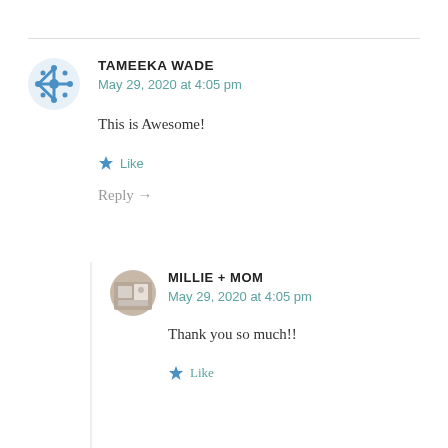TAMEEKA WADE
May 29, 2020 at 4:05 pm
This is Awesome!
Like
Reply →
MILLIE + MOM
May 29, 2020 at 4:05 pm
Thank you so much!!
Like